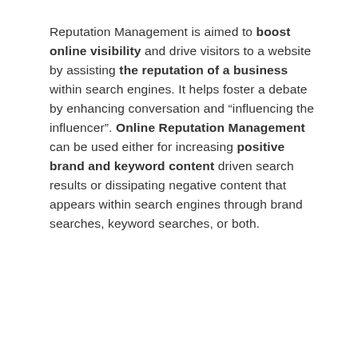Reputation Management is aimed to boost online visibility and drive visitors to a website by assisting the reputation of a business within search engines. It helps foster a debate by enhancing conversation and “influencing the influencer”. Online Reputation Management can be used either for increasing positive brand and keyword content driven search results or dissipating negative content that appears within search engines through brand searches, keyword searches, or both.